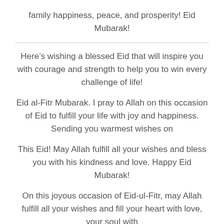family happiness, peace, and prosperity! Eid Mubarak!
Here’s wishing a blessed Eid that will inspire you with courage and strength to help you to win every challenge of life!
Eid al-Fitr Mubarak. I pray to Allah on this occasion of Eid to fulfill your life with joy and happiness. Sending you warmest wishes on
This Eid! May Allah fulfill all your wishes and bless you with his kindness and love. Happy Eid Mubarak!
On this joyous occasion of Eid-ul-Fitr, may Allah fulfill all your wishes and fill your heart with love, your soul with